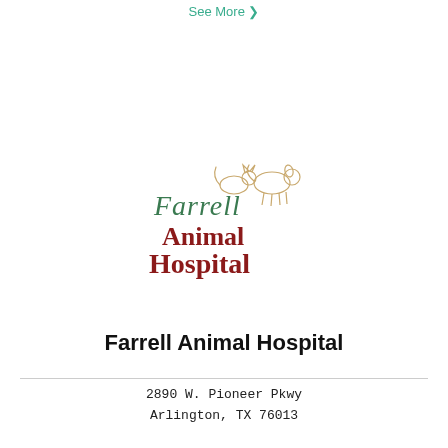See More ❯
[Figure (logo): Farrell Animal Hospital logo: green cursive 'Farrell' text with small animal silhouettes above, and dark red bold 'Animal Hospital' text below]
Farrell Animal Hospital
2890 W. Pioneer Pkwy
Arlington, TX 76013